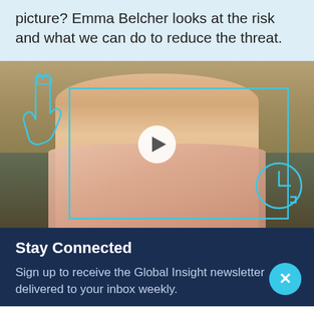picture? Emma Belcher looks at the risk and what we can do to reduce the threat.
[Figure (photo): Video thumbnail showing a woman (Emma Belcher) seated in front of a bookcase, wearing a pink blazer over a black top with a circular necklace. Overlaid with cyan graphic icons: a pointing hand (upper left), a rectangular frame, and a clock (lower right), plus a white circular play button in the center.]
Stay Connected
Sign up to receive the Global Insight newsletter delivered to your inbox weekly.